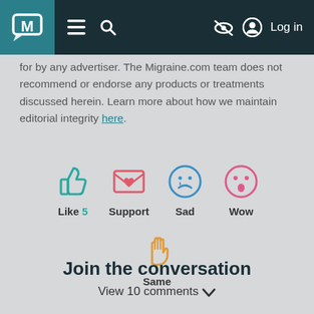M [logo] | menu | search | [eye-slash icon] | Log in
for by any advertiser. The Migraine.com team does not recommend or endorse any products or treatments discussed herein. Learn more about how we maintain editorial integrity here.
[Figure (infographic): Row of reaction icons: thumbs-up (Like 5), envelope with heart (Support), sad face (Sad), surprised face (Wow), and a raised hand (Same)]
Join the conversation
View 10 comments